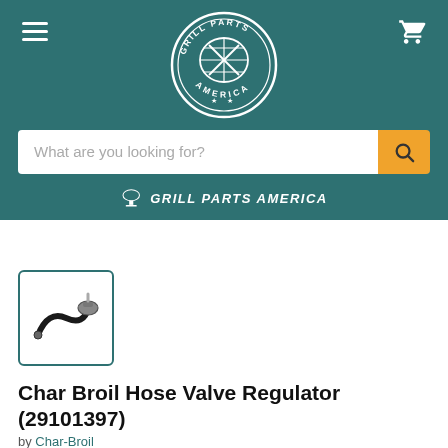Grill Parts America - header with logo, hamburger menu, cart icon, search bar, and brand tagline
[Figure (photo): Product thumbnail image of a Char Broil Hose Valve Regulator (29101397), showing a small black hose and metal valve fitting, displayed in a teal-bordered square thumbnail]
Char Broil Hose Valve Regulator (29101397)
by Char-Broil